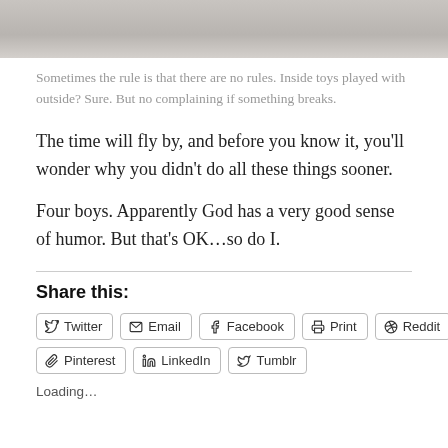[Figure (photo): Top portion of a photo showing a snowy/sandy outdoor scene, cropped at the top of the page]
Sometimes the rule is that there are no rules. Inside toys played with outside? Sure. But no complaining if something breaks.
The time will fly by, and before you know it, you’ll wonder why you didn’t do all these things sooner.
Four boys. Apparently God has a very good sense of humor. But that’s OK…so do I.
Share this:
Twitter
Email
Facebook
Print
Reddit
Pinterest
LinkedIn
Tumblr
Loading…